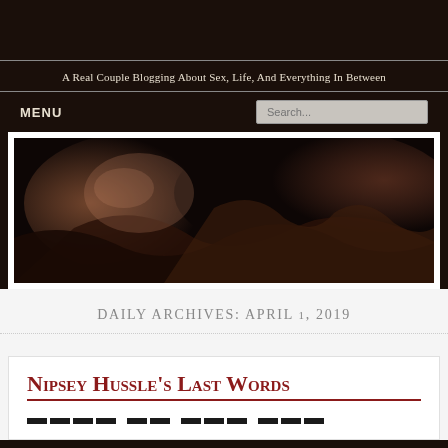A Real Couple Blogging About Sex, Life, And Everything In Between
MENU
[Figure (photo): Dark, moody close-up photo of a person's body with dark silk/satin fabric draped over them, low-key lighting with warm tones.]
DAILY ARCHIVES: APRIL 1, 2019
Nipsey Hussle's Last Words